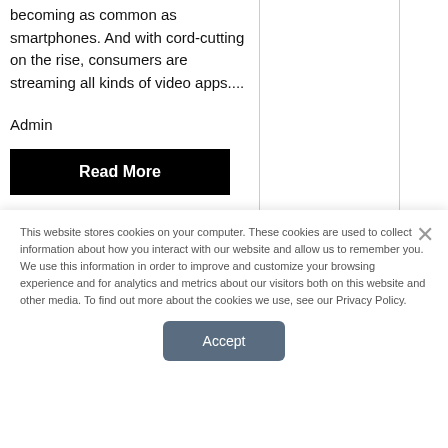becoming as common as smartphones. And with cord-cutting on the rise, consumers are streaming all kinds of video apps....
Admin
Read More
This website stores cookies on your computer. These cookies are used to collect information about how you interact with our website and allow us to remember you. We use this information in order to improve and customize your browsing experience and for analytics and metrics about our visitors both on this website and other media. To find out more about the cookies we use, see our Privacy Policy.
Accept